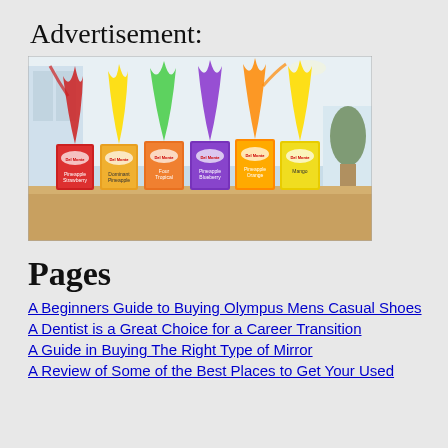Advertisement:
[Figure (photo): Six Del Monte juice cartons lined up on a surface with colorful liquid splashes shooting upward from each carton in different colors (red, yellow, green, purple, orange, yellow), photographed in a bright white room.]
Pages
A Beginners Guide to Buying Olympus Mens Casual Shoes
A Dentist is a Great Choice for a Career Transition
A Guide in Buying The Right Type of Mirror
A Review of Some of the Best Places to Get Your Used...